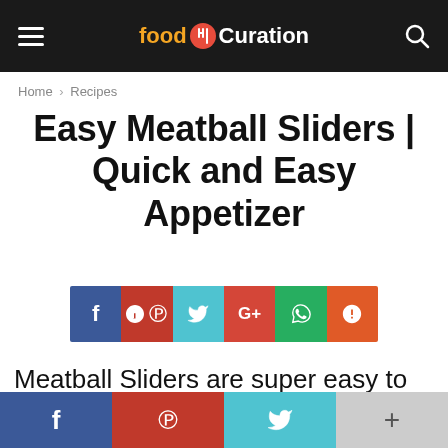food Curation
Home › Recipes
Easy Meatball Sliders | Quick and Easy Appetizer
[Figure (infographic): Social share buttons row: Facebook (blue), Pinterest (red), Twitter (teal), Google+ (red-orange), WhatsApp (green), StumbleUpon (orange)]
Meatball Sliders are super easy to prepare, have a deliciously rich
Bottom sticky social share bar: Facebook, Pinterest, Twitter, More (+)